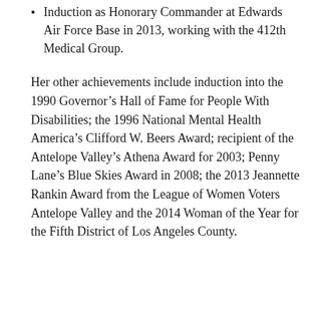Induction as Honorary Commander at Edwards Air Force Base in 2013, working with the 412th Medical Group.
Her other achievements include induction into the 1990 Governor’s Hall of Fame for People With Disabilities; the 1996 National Mental Health America’s Clifford W. Beers Award; recipient of the Antelope Valley’s Athena Award for 2003; Penny Lane’s Blue Skies Award in 2008; the 2013 Jeannette Rankin Award from the League of Women Voters Antelope Valley and the 2014 Woman of the Year for the Fifth District of Los Angeles County.